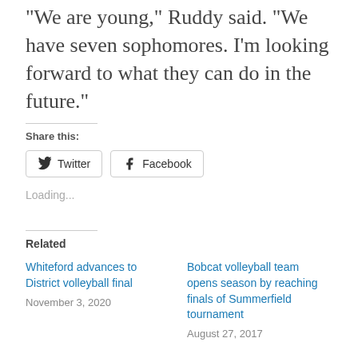“We are young,” Ruddy said. “We have seven sophomores. I’m looking forward to what they can do in the future.”
Share this:
Twitter
Facebook
Loading...
Related
Whiteford advances to District volleyball final
November 3, 2020
Bobcat volleyball team opens season by reaching finals of Summerfield tournament
August 27, 2017